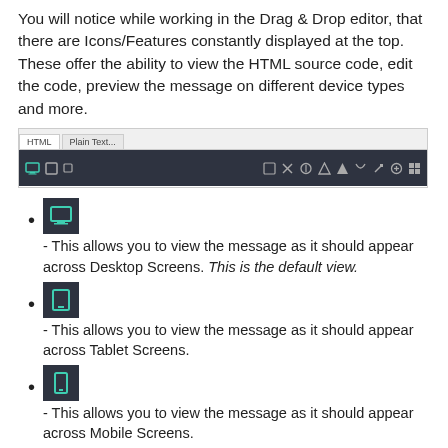You will notice while working in the Drag & Drop editor, that there are Icons/Features constantly displayed at the top. These offer the ability to view the HTML source code, edit the code, preview the message on different device types and more.
[Figure (screenshot): Toolbar screenshot showing HTML and Plain Text tabs at the top, and a dark toolbar bar with various icons for editing and viewing options.]
- This allows you to view the message as it should appear across Desktop Screens. This is the default view.
- This allows you to view the message as it should appear across Tablet Screens.
- This allows you to view the message as it should appear across Mobile Screens.
- This allows you to view the elements you have added to your message. The default is to have this